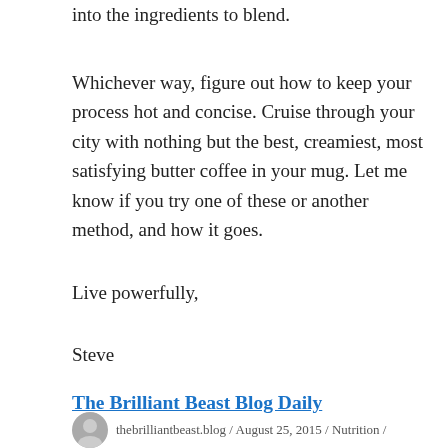into the ingredients to blend.
Whichever way, figure out how to keep your process hot and concise. Cruise through your city with nothing but the best, creamiest, most satisfying butter coffee in your mug. Let me know if you try one of these or another method, and how it goes.
Live powerfully,
Steve
The Brilliant Beast Blog Daily
thebrilliantbeast.blog / August 25, 2015 / Nutrition /